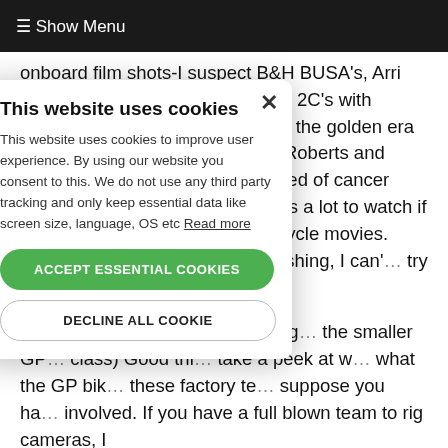≡ Show Menu
onboard film shots-I suspect B&H BUSA's, Arri 3's and who knows, maybe some 2C's with 200'mags. These films document the golden era of GP racing, back when Kenny Roberts and Barry Sheene(I believe he just died of cancer recently)were the big stars-there's a lot to watch if you search on the net for motorcycle movies. There was a series of videos about crashing, I can't remember the name-try a search for
Much like F1, just couldn't get off the ground in the US, leaving us to the smaller GP classes (250 class) Good thing is you can take a peek at what the GP bikes look like in these factory teams, and I suppose you have more people involved. If you have a full blown team to rig cameras, I
[Figure (screenshot): Cookie consent modal dialog overlay with title 'This website uses cookies', body text explaining cookie usage, a green 'ACCEPT ESSENTIAL COOKIES' button, and a white outlined 'DECLINE ALL COOKIE' button. A close (×) button is in the top right corner.]